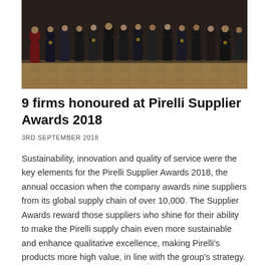[Figure (photo): Group photo of approximately 20 people standing in formal attire in what appears to be an indoor venue with a wooden parquet floor. The group includes men and women dressed in dark suits and formal wear, with one woman in a red dress on the left side.]
9 firms honoured at Pirelli Supplier Awards 2018
3RD SEPTEMBER 2018
Sustainability, innovation and quality of service were the key elements for the Pirelli Supplier Awards 2018, the annual occasion when the company awards nine suppliers from its global supply chain of over 10,000. The Supplier Awards reward those suppliers who shine for their ability to make the Pirelli supply chain even more sustainable and enhance qualitative excellence, making Pirelli's products more high value, in line with the group's strategy.